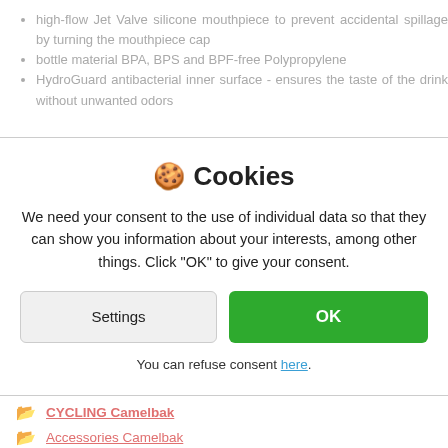high-flow Jet Valve silicone mouthpiece to prevent accidental spillage by turning the mouthpiece cap
bottle material BPA, BPS and BPF-free Polypropylene
HydroGuard antibacterial inner surface - ensures the taste of the drink without unwanted odors
Cookies
We need your consent to the use of individual data so that they can show you information about your interests, among other things. Click "OK" to give your consent.
Settings | OK
You can refuse consent here.
CYCLING Camelbak
Accessories Camelbak
Bottles Camelbak
Cycle bottles Camelbak